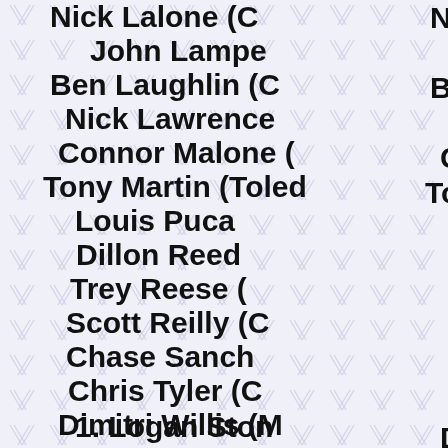Nick Lalone (…
John Lampe…
Ben Laughlin (C…
Nick Lawrence…
Connor Malone (…
Tony Martin (Toled…
Louis Puca …
Dillon Reed…
Trey Reese (…
Scott Reilly (C…
Chase Sanch…
Chris Tyler (C…
Dimitri Willis (M…
1. Logan Ston…
2. Chris Phillip…